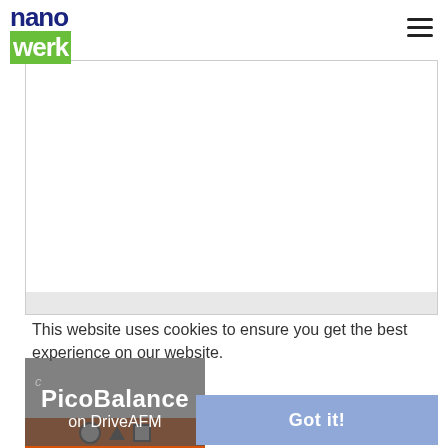[Figure (logo): Nanowerk logo with blue 'nano' text on white background and white 'werk' text on green background]
[Figure (other): Hamburger menu icon (three horizontal lines) in top right corner]
[Figure (other): White advertisement/content box with gray strip at bottom]
This website uses cookies to ensure you get the best experience on our website.
[Figure (other): PicoBalance on DriveAFM overlay card with semi-transparent dark background]
[Figure (other): Got it! button in blue/periwinkle color]
[Figure (other): Bottom strip of image showing reddish-orange color with icons]